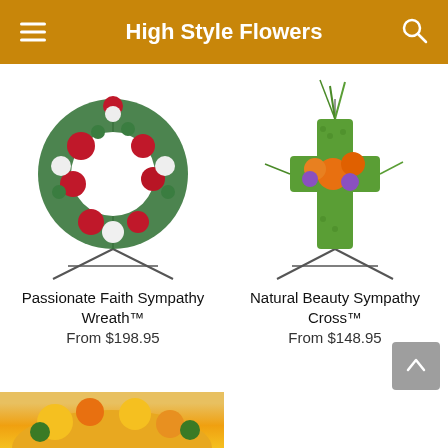High Style Flowers
[Figure (photo): Floral sympathy wreath with red roses and white flowers on a metal easel stand]
Passionate Faith Sympathy Wreath™
From $198.95
[Figure (photo): Green moss cross floral arrangement with orange and purple flowers on a metal easel stand]
Natural Beauty Sympathy Cross™
From $148.95
[Figure (photo): Partial view of yellow and orange floral arrangement at bottom of page]